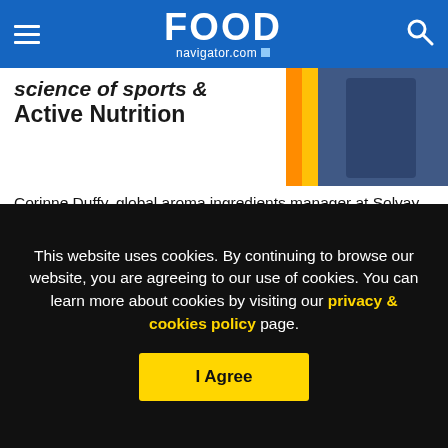FOOD navigator.com
[Figure (screenshot): Partial promo banner showing text 'science of Sports & Active Nutrition' with a blurred sports/nutrition image on the right]
Corinne Duffy, global aroma ingredients manager at Solvay which has been producing artificial vanillin for over a century, said:“During several vanilla crises in the past, there was an increased demand for
[Figure (photo): Small thumbnail image of orange/amber colored food items with a zoom/magnify icon overlay]
This website uses cookies. By continuing to browse our website, you are agreeing to our use of cookies. You can learn more about cookies by visiting our privacy & cookies policy page.
I Agree